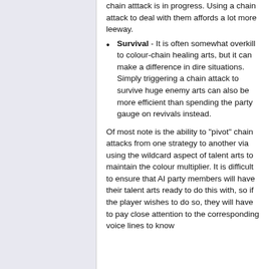chain atttack is in progress. Using a chain attack to deal with them affords a lot more leeway.
Survival - It is often somewhat overkill to colour-chain healing arts, but it can make a difference in dire situations. Simply triggering a chain attack to survive huge enemy arts can also be more efficient than spending the party gauge on revivals instead.
Of most note is the ability to "pivot" chain attacks from one strategy to another via using the wildcard aspect of talent arts to maintain the colour multiplier. It is difficult to ensure that AI party members will have their talent arts ready to do this with, so if the player wishes to do so, they will have to pay close attention to the corresponding voice lines to know